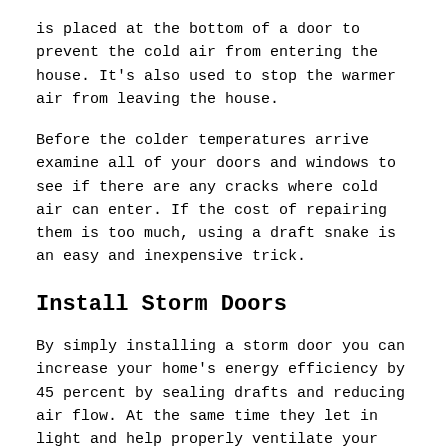is placed at the bottom of a door to prevent the cold air from entering the house. It's also used to stop the warmer air from leaving the house.
Before the colder temperatures arrive examine all of your doors and windows to see if there are any cracks where cold air can enter. If the cost of repairing them is too much, using a draft snake is an easy and inexpensive trick.
Install Storm Doors
By simply installing a storm door you can increase your home's energy efficiency by 45 percent by sealing drafts and reducing air flow. At the same time they let in light and help properly ventilate your home.
Along the same line are storm windows which can make a huge difference when the cold wind starts